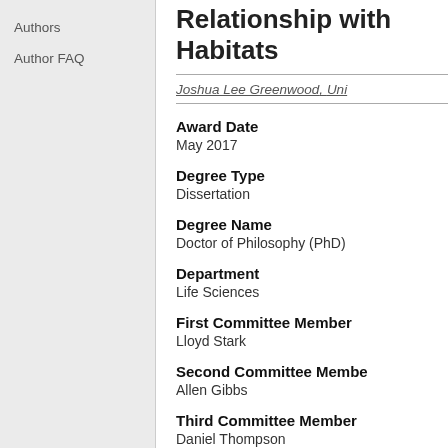Authors
Author FAQ
Relationship with Habitats
Joshua Lee Greenwood, Uni...
Award Date
May 2017
Degree Type
Dissertation
Degree Name
Doctor of Philosophy (PhD)
Department
Life Sciences
First Committee Member
Lloyd Stark
Second Committee Member
Allen Gibbs
Third Committee Member
Daniel Thompson